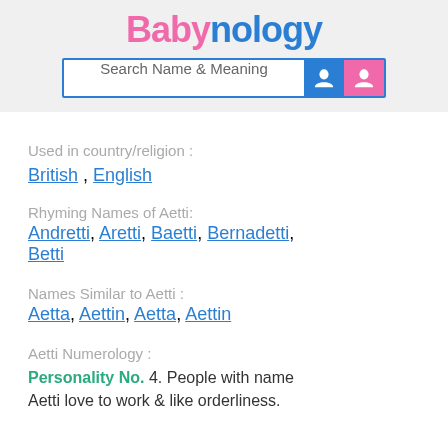Babynology
[Figure (screenshot): Search bar with text 'Search Name & Meaning' and two person icon buttons (blue and pink)]
Used in country/religion :
British , English
Rhyming Names of Aetti: Andretti, Aretti, Baetti, Bernadetti, Betti
Names Similar to Aetti : Aetta, Aettin, Aetta, Aettin
Aetti Numerology :
Personality No. 4. People with name Aetti love to work & like orderliness.